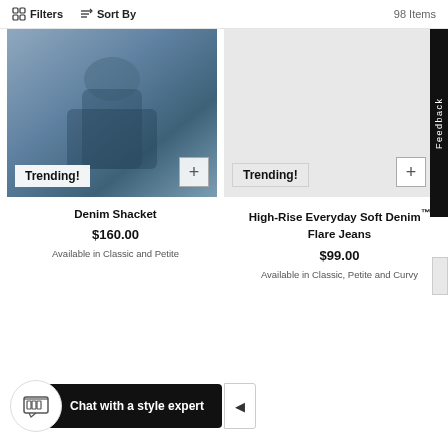Filters  Sort By  98 Items
[Figure (photo): Person wearing denim jacket and jeans sitting outdoors on hay bales]
Trending!
Denim Shacket
$160.00
Available in Classic and Petite
[Figure (photo): Grey placeholder area for second product image with Trending! badge and plus button]
Trending!
High-Rise Everyday Soft Denim™ Flare Jeans
$99.00
Available in Classic, Petite and Curvy
Chat with a style expert